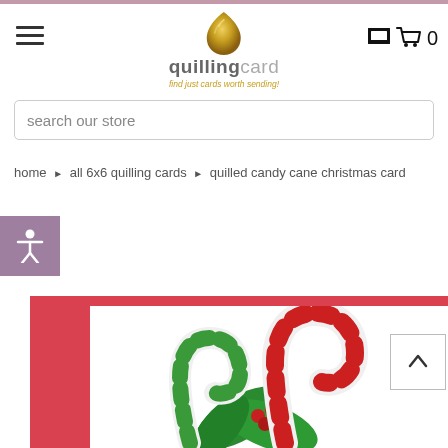quillingcard - find just cards worth sending!
search our store
home ▶ all 6x6 quilling cards ▶ quilled candy cane christmas card
[Figure (screenshot): Quilled candy cane Christmas card product image showing two candy canes (one green and white, one red and white) with holly leaves and berries on a white card with red border]
[Figure (other): Back to top button with up chevron]